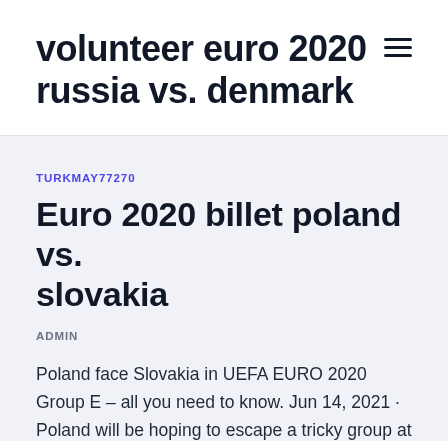volunteer euro 2020 russia vs. denmark
TURKMAY77270
Euro 2020 billet poland vs. slovakia
ADMIN
Poland face Slovakia in UEFA EURO 2020 Group E – all you need to know. Jun 14, 2021 · Poland will be hoping to escape a tricky group at Euro 2020 Credit: AFP ◻ Follow ALL of the latest news and updates from Euro